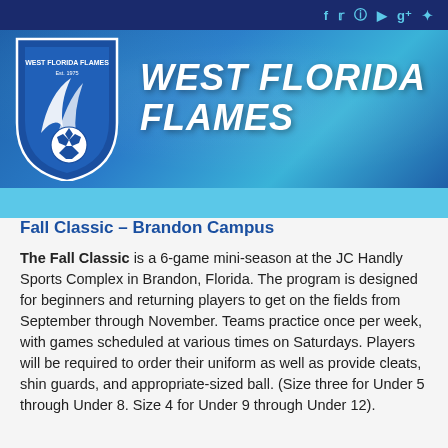West Florida Flames – social media icons (f, twitter, instagram, youtube, g+, pinterest)
[Figure (logo): West Florida Flames soccer club shield logo in blue and white with soccer ball]
WEST FLORIDA FLAMES
Fall Classic – Brandon Campus
The Fall Classic is a 6-game mini-season at the JC Handly Sports Complex in Brandon, Florida. The program is designed for beginners and returning players to get on the fields from September through November. Teams practice once per week, with games scheduled at various times on Saturdays. Players will be required to order their uniform as well as provide cleats, shin guards, and appropriate-sized ball. (Size three for Under 5 through Under 8. Size 4 for Under 9 through Under 12).